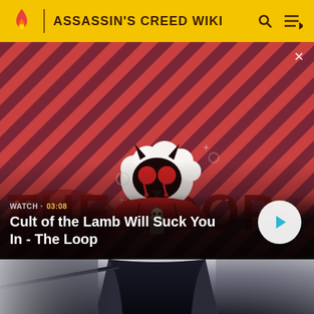ASSASSIN'S CREED WIKI
[Figure (screenshot): Video thumbnail for 'Cult of the Lamb Will Suck You In - The Loop' showing animated lamb character with devil horns on red and dark purple diagonal stripe background. Shows WATCH · 03:08 label and play button.]
[Figure (photo): Bottom portion of page showing a dark hooded figure holding a scythe against a blurred dark background.]